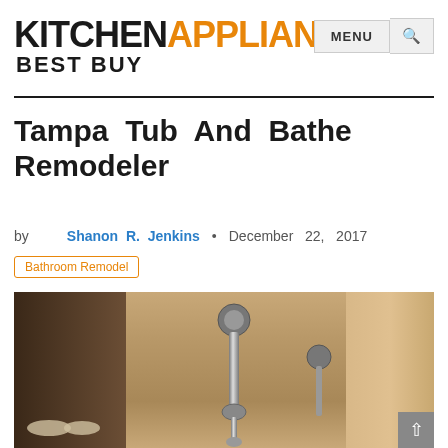KITCHENAPPLIANCES BEST BUY
Tampa Tub And Bathe Remodeler
by Shanon R. Jenkins • December 22, 2017
Bathroom Remodel
[Figure (photo): Interior photo of a bathroom shower area showing tiled walls, shower fixtures including a hand-held shower head on a rail, and wooden cabinet elements in warm brown tones.]